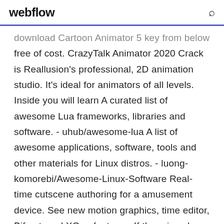webflow
download Cartoon Animator 5 key from below free of cost. CrazyTalk Animator 2020 Crack is Reallusion's professional, 2D animation studio. It's ideal for animators of all levels. Inside you will learn A curated list of awesome Lua frameworks, libraries and software. - uhub/awesome-lua A list of awesome applications, software, tools and other materials for Linux distros. - luong-komorebi/Awesome-Linux-Software Real-time cutscene authoring for a amusement device. See new motion graphics, time editor, Bifrost, and XGen features. If there is only a single viewport and it has one or more objects isolated then all of the other, unrelated objects